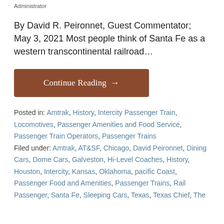Administrator
By David R. Peironnet, Guest Commentator; May 3, 2021 Most people think of Santa Fe as a western transcontinental railroad…
Continue Reading →
Posted in: Amtrak, History, Intercity Passenger Train, Locomotives, Passenger Amenities and Food Service, Passenger Train Operators, Passenger Trains Filed under: Amtrak, AT&SF, Chicago, David Peironnet, Dining Cars, Dome Cars, Galveston, Hi-Level Coaches, History, Houston, Intercity, Kansas, Oklahoma, pacific Coast, Passenger Food and Amenities, Passenger Trains, Rail Passenger, Santa Fe, Sleeping Cars, Texas, Texas Chief, The